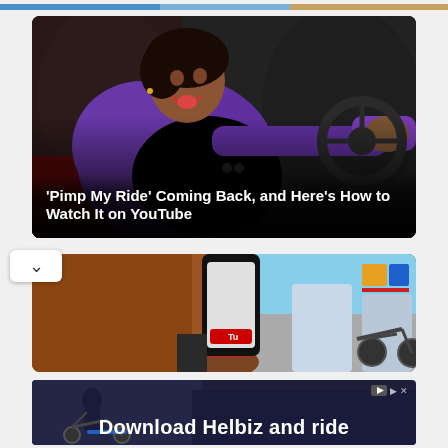[Figure (photo): Cropped top strip of previous card image]
[Figure (photo): Woman in purple jacket sitting in a red car interior, smiling with tongue out, reaching toward the steering wheel]
'Pimp My Ride' Coming Back, and Here's How to Watch It on YouTube
[Figure (photo): Person holding a smartphone with YouTube logo partially visible, scooter/outdoor scene in background]
[Figure (photo): Advertisement banner for Helbiz scooter service — Download Helbiz and ride]
Download Helbiz and ride